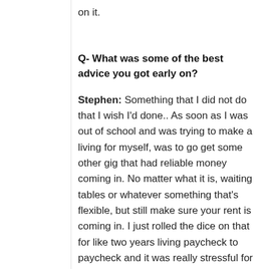on it.
Q- What was some of the best advice you got early on?
Stephen: Something that I did not do that I wish I'd done.. As soon as I was out of school and was trying to make a living for myself, was to go get some other gig that had reliable money coming in. No matter what it is, waiting tables or whatever something that's flexible, but still make sure your rent is coming in. I just rolled the dice on that for like two years living paycheck to paycheck and it was really stressful for me. It's hard to go